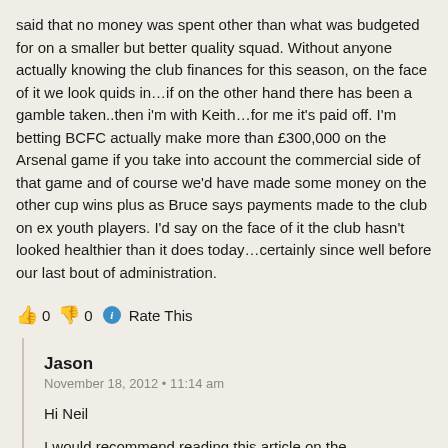said that no money was spent other than what was budgeted for on a smaller but better quality squad. Without anyone actually knowing the club finances for this season, on the face of it we look quids in…if on the other hand there has been a gamble taken..then i'm with Keith…for me it's paid off. I'm betting BCFC actually make more than £300,000 on the Arsenal game if you take into account the commercial side of that game and of course we'd have made some money on the other cup wins plus as Bruce says payments made to the club on ex youth players. I'd say on the face of it the club hasn't looked healthier than it does today…certainly since well before our last bout of administration.
👍 0 👎 0 ℹ Rate This
Jason
November 18, 2012 • 11:14 am
Hi Neil
I would recommend reading this article on the